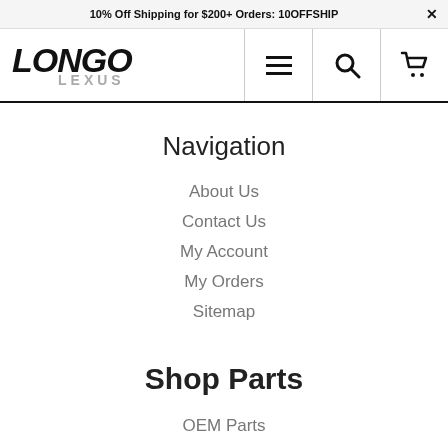10% Off Shipping for $200+ Orders: 10OFFSHIP
[Figure (logo): Longo Lexus logo with italic bold LONGO text and LEXUS subtitle in gray]
Navigation
About Us
Contact Us
My Account
My Orders
Sitemap
Shop Parts
OEM Parts